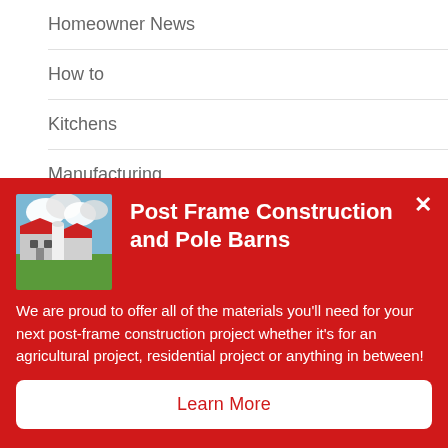Homeowner News
How to
Kitchens
Manufacturing
Products
Post Frame Construction and Pole Barns
We are proud to offer all of the materials you'll need for your next post-frame construction project whether it's for an agricultural project, residential project or anything in between!
Learn More